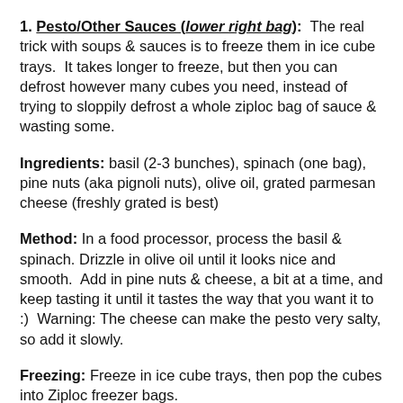1. Pesto/Other Sauces (lower right bag): The real trick with soups & sauces is to freeze them in ice cube trays. It takes longer to freeze, but then you can defrost however many cubes you need, instead of trying to sloppily defrost a whole ziploc bag of sauce & wasting some.
Ingredients: basil (2-3 bunches), spinach (one bag), pine nuts (aka pignoli nuts), olive oil, grated parmesan cheese (freshly grated is best)
Method: In a food processor, process the basil & spinach. Drizzle in olive oil until it looks nice and smooth. Add in pine nuts & cheese, a bit at a time, and keep tasting it until it tastes the way that you want it to :) Warning: The cheese can make the pesto very salty, so add it slowly.
Freezing: Freeze in ice cube trays, then pop the cubes into Ziploc freezer bags.
2. Chicken pot pie (lower left bag): A fantastic way to use leftover chicken/turkey, and you probably already have a lot